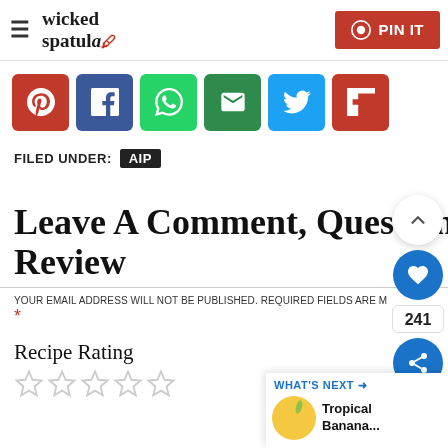wicked spatula — PIN IT
[Figure (infographic): Row of 6 social share buttons: Pinterest (red), Facebook (dark blue), WhatsApp (green), Email (dark green), Twitter (light blue), Flipboard (red)]
FILED UNDER: AIP
Leave A Comment, Question Or Review
YOUR EMAIL ADDRESS WILL NOT BE PUBLISHED. REQUIRED FIELDS ARE M *
Recipe Rating
[Figure (other): Five empty star rating icons]
[Figure (other): Floating sidebar: scroll-up button, heart/like button, count 241, share button]
[Figure (other): What's Next panel: Tropical Banana... with thumbnail]